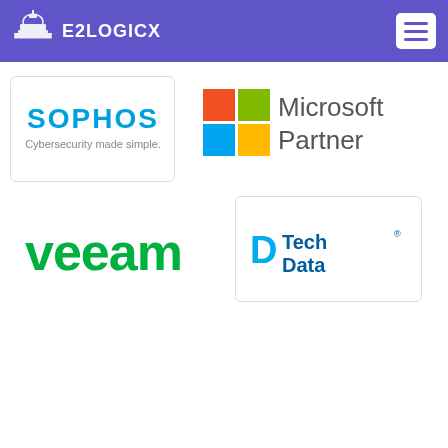E2LOGICX
[Figure (logo): Sophos logo with text 'Cybersecurity made simple']
[Figure (logo): Microsoft Partner logo with colored squares]
[Figure (logo): Veeam logo in green]
[Figure (logo): Tech Data logo with D symbol]